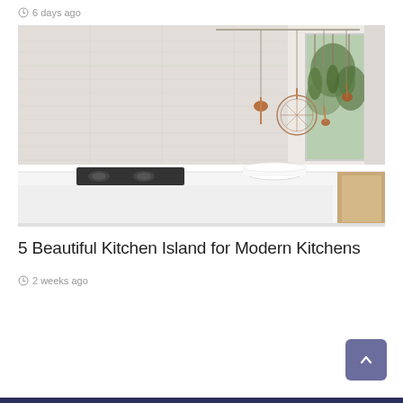6 days ago
[Figure (photo): Modern kitchen interior showing a white island counter with a gas stovetop, hanging copper utensils and cookware against a light textured tile backsplash, and herbs hanging near a window on the right side.]
5 Beautiful Kitchen Island for Modern Kitchens
2 weeks ago